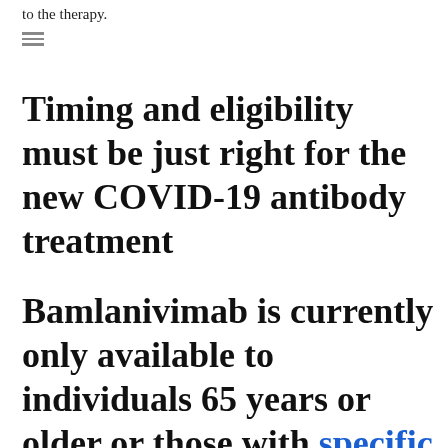to the therapy.
Timing and eligibility must be just right for the new COVID-19 antibody treatment
Bamlanivimab is currently only available to individuals 65 years or older or those with specific high-risk factors, such as hypertension or